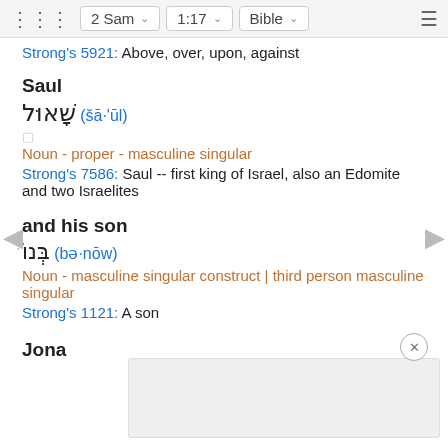2 Sam  1:17  Bible
Strong's 5921: Above, over, upon, against
Saul
שָׁאוּל (šā·'ūl)
Noun - proper - masculine singular
Strong's 7586: Saul -- first king of Israel, also an Edomite and two Israelites
and his son
בְּנוֹ (bə·nōw)
Noun - masculine singular construct | third person masculine singular
Strong's 1121: A son
Jona
הוֹנ